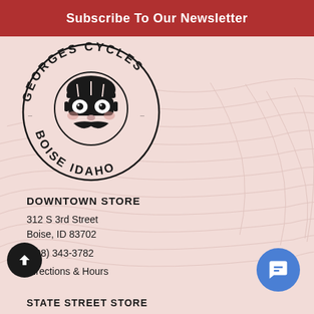Subscribe To Our Newsletter
[Figure (logo): Georges Cycles Boise Idaho circular logo with cartoon cyclist face wearing helmet and goggles with mustache]
DOWNTOWN STORE
312 S 3rd Street
Boise, ID 83702
(208) 343-3782
Directions & Hours
STATE STREET STORE